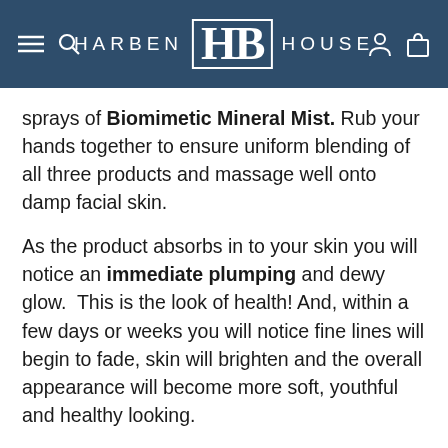HARBEN HB HOUSE
sprays of Biomimetic Mineral Mist. Rub your hands together to ensure uniform blending of all three products and massage well onto damp facial skin.
As the product absorbs in to your skin you will notice an immediate plumping and dewy glow.  This is the look of health! And, within a few days or weeks you will notice fine lines will begin to fade, skin will brighten and the overall appearance will become more soft, youthful and healthy looking.
Transdermal C Serum
Transdermal C Serum is THE must-have anti-aging product. Formulated with an extremely high concentration